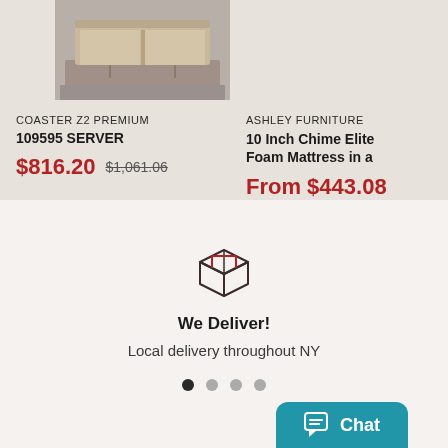[Figure (photo): Product photo of a wooden server/cabinet furniture piece on a rug]
COASTER Z2 PREMIUM
109595 SERVER
$816.20  $1,061.06
ASHLEY FURNITURE
10 Inch Chime Elite Foam Mattress in a
From $443.08
[Figure (illustration): Box/package delivery icon]
We Deliver!
Local delivery throughout NY
Chat